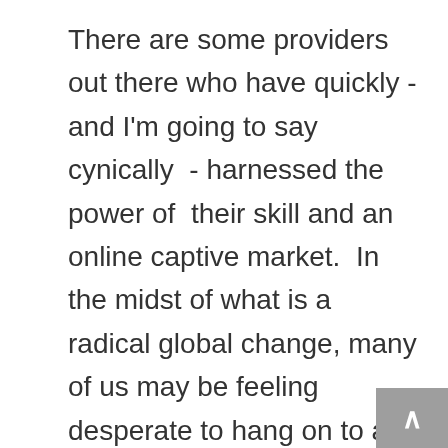There are some providers out there who have quickly - and I'm going to say cynically - harnessed the power of their skill and an online captive market. In the midst of what is a radical global change, many of us may be feeling desperate to hang on to any semblance of the old normal. There is potential there for the personal and commercial exploitation of vulnerability that really needs to be held in our awareness.